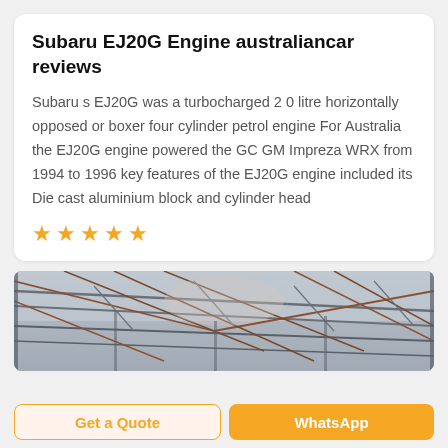Subaru EJ20G Engine australiancar reviews
Subaru s EJ20G was a turbocharged 2 0 litre horizontally opposed or boxer four cylinder petrol engine For Australia the EJ20G engine powered the GC GM Impreza WRX from 1994 to 1996 key features of the EJ20G engine included its Die cast aluminium block and cylinder head
[Figure (other): Five orange star rating icons]
[Figure (photo): Interior view of a large industrial or warehouse building with metal roof trusses and structural steel framework, photographed from below looking upward at an angle.]
Get a Quote
WhatsApp